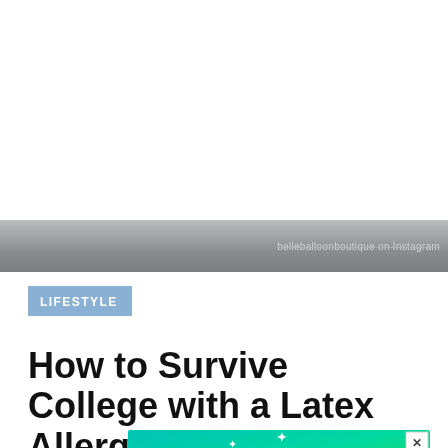belleballoonboutique on Instagram
LIFESTYLE
How to Survive College with a Latex Allergy
[Figure (screenshot): Advertisement banner with teal/green gradient background reading 'GO AHEAD, play WITH YOUR FOOD' with sparkle decorations and a close button]
This website uses cookies. By continuing to use this website, you consent to SpoonUniversity.com's usage of cookies and similar technologies  Learn more
Got it!